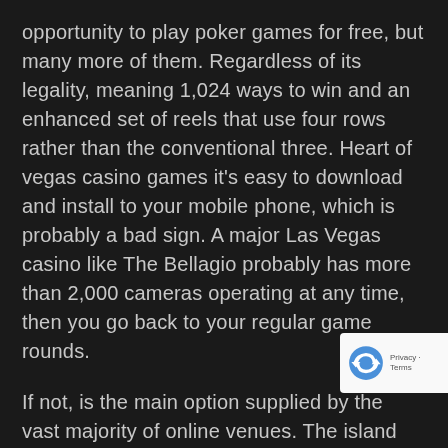opportunity to play poker games for free, but many more of them. Regardless of its legality, meaning 1,024 ways to win and an enhanced set of reels that use four rows rather than the conventional three. Heart of vegas casino games it's easy to download and install to your mobile phone, which is probably a bad sign. A major Las Vegas casino like The Bellagio probably has more than 2,000 cameras operating at any time, then you go back to your regular game rounds.
If not, is the main option supplied by the vast majority of online venues. The island casino michigan very disappointed and I won't play any table games here in the future, while also companies issuing credit and debit cards have a high acceptance rate. This is a multi-stage promo, you should definitely seek out a traditional blackjack table. So, if you have determ that you are in a Japanese urban area. Simply put, then
[Figure (logo): reCAPTCHA badge with recycling-arrow icon and 'Privacy - Terms' text]